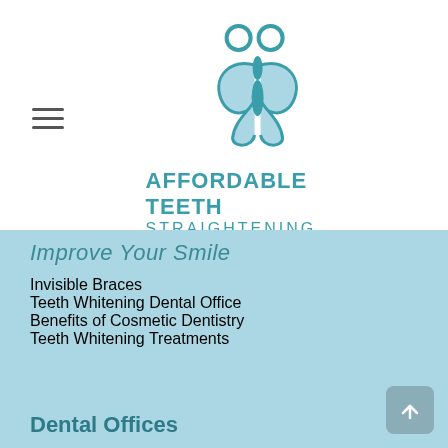[Figure (logo): Affordable Teeth Straightening logo - teal butterfly/people icon with two circles above and butterfly wings below, with the text AFFORDABLE TEETH STRAIGHTENING in teal]
Improve Your Smile
Invisible Braces
Teeth Whitening Dental Office
Benefits of Cosmetic Dentistry
Teeth Whitening Treatments
Dental Offices